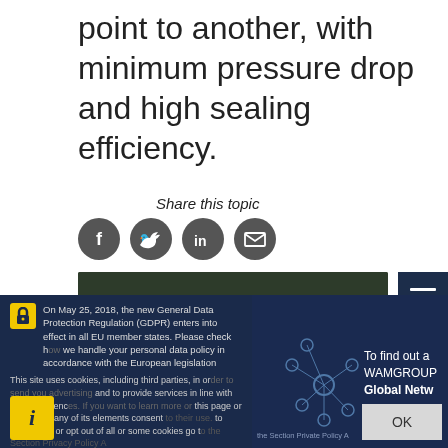point to another, with minimum pressure drop and high sealing efficiency.
Share this topic
[Figure (illustration): Social media sharing icons: Facebook, Twitter, LinkedIn, Email]
[Figure (photo): Dark green industrial image strip]
On May 25, 2018, the new General Data Protection Regulation (GDPR) enters into effect in all EU member states. Please check how we handle your personal data policy in accordance with the European legislation.
This site uses cookies, including third parties, in order to send you advertising and to provide services in line with your preferences. If you want to learn more or opt out of all or some cookies go to the Section Privacy Policy and Cookies
[Figure (illustration): WAMGROUP Global Network panel with network graph icon]
To find out a WAMGROUP Global Netw...